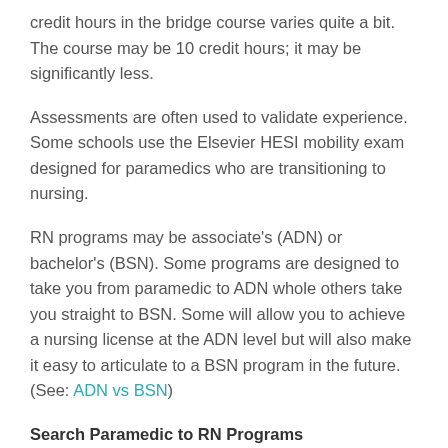credit hours in the bridge course varies quite a bit. The course may be 10 credit hours; it may be significantly less.
Assessments are often used to validate experience. Some schools use the Elsevier HESI mobility exam designed for paramedics who are transitioning to nursing.
RN programs may be associate's (ADN) or bachelor's (BSN). Some programs are designed to take you from paramedic to ADN whole others take you straight to BSN. Some will allow you to achieve a nursing license at the ADN level but will also make it easy to articulate to a BSN program in the future. (See: ADN vs BSN)
Search Paramedic to RN Programs
Paramedics can earn an ADN or BSN degree online in up to 1/2 the time and cost of traditional programs. All applicants must be a Paramedic to apply.